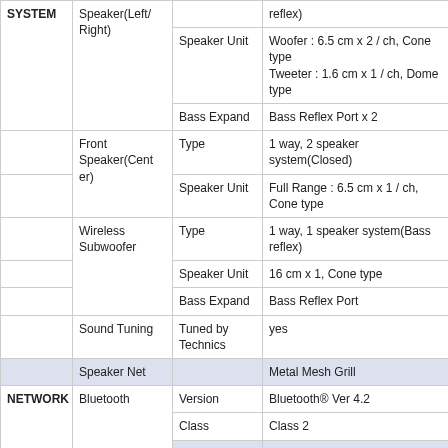| Category | Sub-category | Property | Value |
| --- | --- | --- | --- |
| SYSTEM | Speaker(Left/Right) |  | reflex) |
|  |  | Speaker Unit | Woofer : 6.5 cm x 2 / ch, Cone type
Tweeter : 1.6 cm x 1 / ch, Dome type |
|  |  | Bass Expand | Bass Reflex Port x 2 |
|  | Front Speaker(Center) | Type | 1 way, 2 speaker system(Closed) |
|  |  | Speaker Unit | Full Range : 6.5 cm x 1 / ch, Cone type |
|  | Wireless Subwoofer | Type | 1 way, 1 speaker system(Bass reflex) |
|  |  | Speaker Unit | 16 cm x 1, Cone type |
|  |  | Bass Expand | Bass Reflex Port |
|  | Sound Tuning | Tuned by Technics | yes |
|  | Speaker Net |  | Metal Mesh Grill |
| NETWORK | Bluetooth | Version | Bluetooth® Ver 4.2 |
|  |  | Class | Class 2 |
|  |  | Codec | SBC, AAC |
|  |  | Connectivity | Multi-Pairing(MAX 8 Devices) |